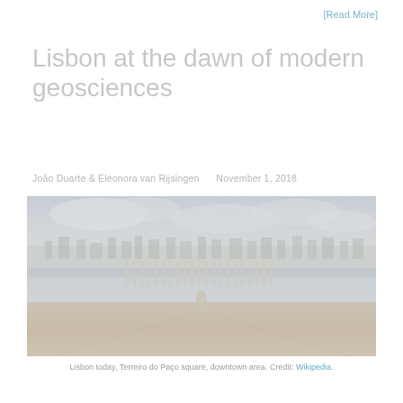[Read More]
Lisbon at the dawn of modern geosciences
João Duarte & Eleonora van Rijsingen     November 1, 2018
[Figure (photo): Aerial/elevated view of Lisbon city, showing Terreiro do Paço square and downtown area, washed-out/faded tones]
Lisbon today, Terreiro do Paço square, downtown area. Credit: Wikipedia.